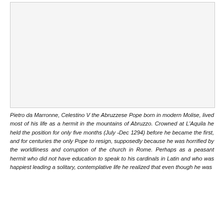[Figure (photo): A photograph or illustration, likely depicting Pietro da Marronne / Celestino V or a related historical scene. The image area appears light/blank in the scan.]
Pietro da Marronne, Celestino V the Abruzzese Pope born in modern Molise, lived most of his life as a hermit in the mountains of Abruzzo. Crowned at L'Aquila he held the position for only five months (July -Dec 1294) before he became the first, and for centuries the only Pope to resign, supposedly because he was horrified by the worldliness and corruption of the church in Rome. Perhaps as a peasant hermit who did not have education to speak to his cardinals in Latin and who was happiest leading a solitary, contemplative life he realized that even though he was